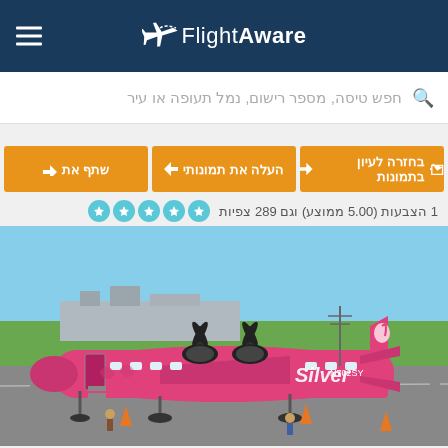FlightAware
חפש טיסה, מספר רישום, נמל תעופה או עיר
בחזרה לעיון בתמונות | העלה את תמונותי | שתף את
1 הצבעות (5.00 ממוצע) וגם 289 צפיות
[Figure (photo): A bright pink Silver Airways ATR turboprop aircraft (registration N702SY) parked on the tarmac at an airport. The plane features a flamingo livery on the tail. Ground crew and passengers visible near the plane.]